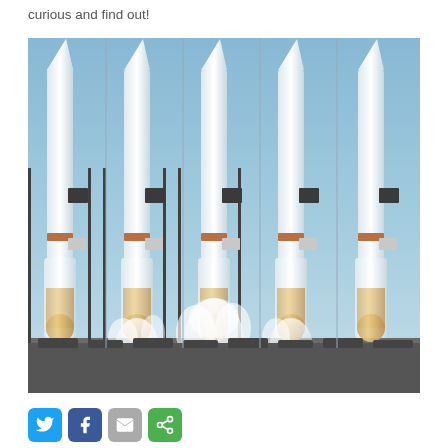curious and find out!
[Figure (photo): A composite time-lapse style photo showing a rocket (Atlas V) on its launch pad at multiple stages, creating 5 overlapping images of the rocket from pre-launch to liftoff with exhaust and steam clouds visible at the base.]
[Figure (infographic): Social media sharing buttons: Twitter (blue bird icon), Facebook (blue f icon), Email (grey envelope icon), Share (green share icon)]